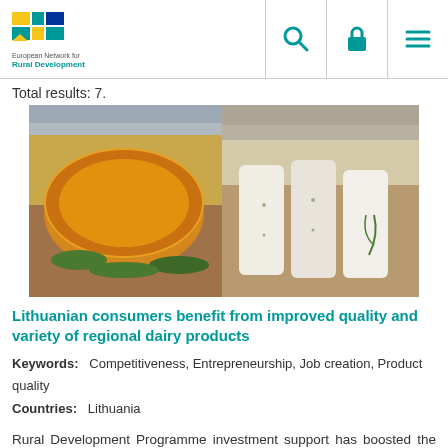European Network for Rural Development
Total results: 7.
[Figure (photo): Two photos of dairy products side by side: left shows a round golden-orange aged cheese on a wooden board with herbs, right shows several white fresh cheese pieces on a wooden board.]
Lithuanian consumers benefit from improved quality and variety of regional dairy products
Keywords: Competitiveness, Entrepreneurship, Job creation, Product quality
Countries: Lithuania
Rural Development Programme investment support has boosted the productivity and competitiveness of a family dairy business and